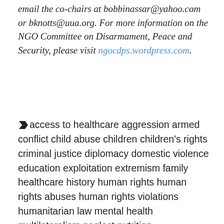email the co-chairs at bobbinassar@yahoo.com or bknotts@uua.org. For more information on the NGO Committee on Disarmament, Peace and Security, please visit ngocdps.wordpress.com.
access to healthcare aggression armed conflict child abuse children children's rights criminal justice diplomacy domestic violence education exploitation extremism family healthcare history human rights human rights abuses human rights violations humanitarian law mental health multilateralism neglect nutrition peacebuilding poverty racial justice SDGs security social justice social protections social services technology trauma victim advocacy victim recognition victim remembrance violence war